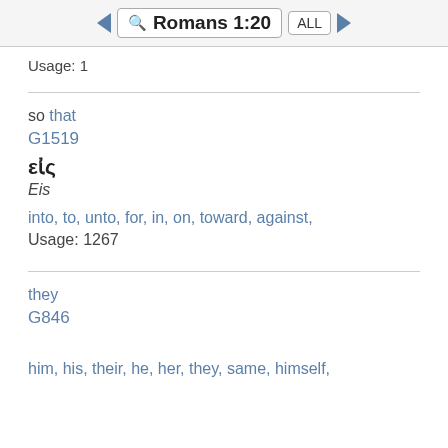Romans 1:20
Usage: 1
so that
G1519
εἰς
Eis
into, to, unto, for, in, on, toward, against,
Usage: 1267
they
G846
him, his, their, he, her, they, same, himself,